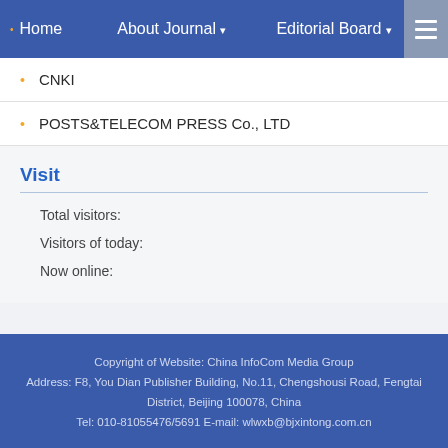Home   About Journal ▾   Editorial Board ▾
CNKI
POSTS&TELECOM PRESS Co., LTD
Visit
Total visitors:
Visitors of today:
Now online:
Copyright of Website: China InfoCom Media Group
Address: F8, You Dian Publisher Building, No.11, Chengshousi Road, Fengtai District, Beijing 100078, China
Tel: 010-81055476/5691 E-mail: wlwxb@bjxintong.com.cn